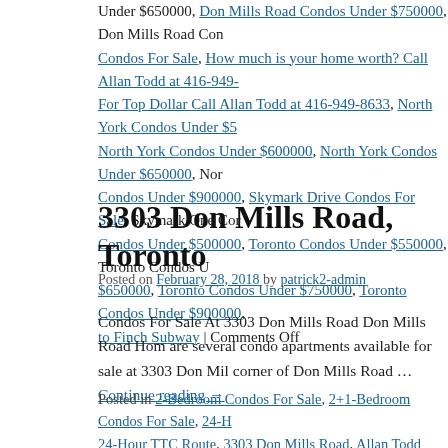Under $650000, Don Mills Road Condos Under $750000, Don Mills Road Condos For Sale, How much is your home worth? Call Allan Todd at 416-949- For Top Dollar Call Allan Todd at 416-949-8633, North York Condos Under $5 North York Condos Under $600000, North York Condos Under $650000, Nor Condos Under $900000, Skymark Drive Condos For Sale, Skymark One Cor Condos Under $500000, Toronto Condos Under $550000, Toronto Condos U $650000, Toronto Condos Under $750000, Toronto Condos Under $900000, to Finch Subway | Comments Off
3303 Don Mills Road, Toronto
Posted on February 28, 2018 by patrick2-admin
Condos For Sale At 3303 Don Mills Road Don Mills Road Hom are several condo apartments available for sale at 3303 Don Mil corner of Don Mills Road … Continue reading →
Posted in 2-Bedroom Condos For Sale, 2+1-Bedroom Condos For Sale, 24-H 24-Hour TTC Route, 3303 Don Mills Road, Allan Todd Realtor, Condos For S DVP / 404, Condos For Sale Near Finch and 404, Condos For Sale on Don M $500000, Condos For Sale Under $550000, Condos For Sale Under $60000 Condos For Sale Under $750000, Condos For Sale Under $900000, Condos $550000, Condos For Under $600000, Condos For Under $650000, Condos 750000, Condos Near Seneca College, DEL Managed Property, Don Mills R